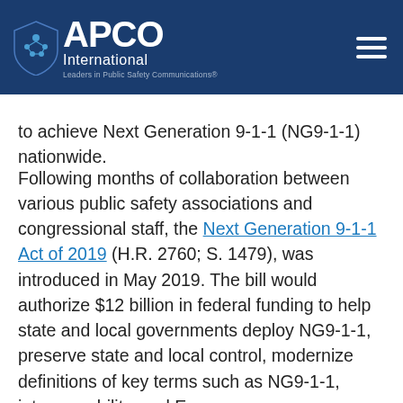APCO International — Leaders in Public Safety Communications
to achieve Next Generation 9-1-1 (NG9-1-1) nationwide.
Following months of collaboration between various public safety associations and congressional staff, the Next Generation 9-1-1 Act of 2019 (H.R. 2760; S. 1479), was introduced in May 2019. The bill would authorize $12 billion in federal funding to help state and local governments deploy NG9-1-1, preserve state and local control, modernize definitions of key terms such as NG9-1-1, interoperability, and Emergency Communications Center (ECC), and place conditions on grant recipients to achieve interoperability, prevent 9-1-1 fee diversion, and have a sustainable funding mechanism in place for ongoing operational needs. The introduction of this bill was a great starting point